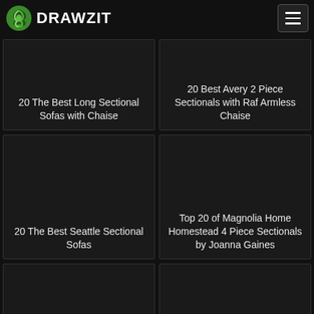DRAWZIT
20 The Best Long Sectional Sofas with Chaise
20 Best Avery 2 Piece Sectionals with Raf Armless Chaise
20 The Best Seattle Sectional Sofas
Top 20 of Magnolia Home Homestead 4 Piece Sectionals by Joanna Gaines
[Figure (photo): Dark card placeholder image bottom left]
[Figure (photo): Dark card placeholder image bottom right]